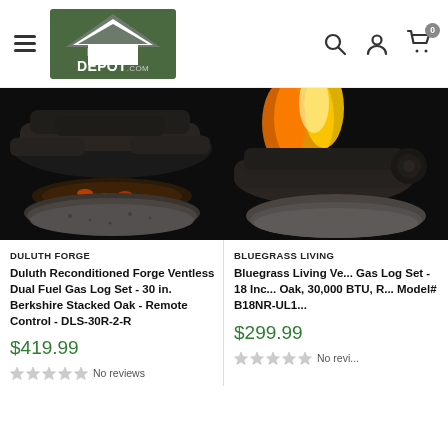[Figure (logo): Buyer's Depot .com logo with green house icon]
[Figure (photo): Duluth Forge fireplace gas log set with glowing embers on dark background]
DULUTH FORGE
Duluth Reconditioned Forge Ventless Dual Fuel Gas Log Set - 30 in. Berkshire Stacked Oak - Remote Control - DLS-30R-2-R
$419.99
No reviews
[Figure (photo): Bluegrass Living fireplace gas log set with flames visible on dark background]
BLUEGRASS LIVING
Bluegrass Living Ve... Gas Log Set - 18 Inc... Oak, 30,000 BTU, R... Model# B18NR-UL1...
$299.99
No revi...